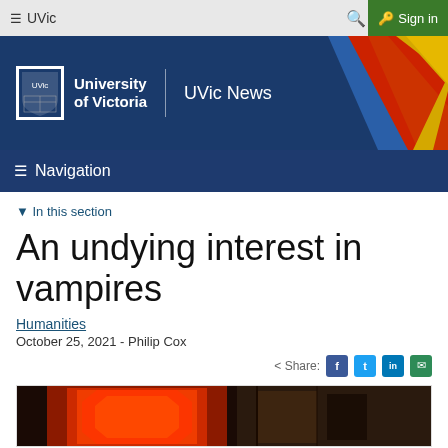UVic | Sign in
[Figure (logo): University of Victoria UVic News banner with blue background and diagonal red, blue, and yellow stripes]
Navigation
▼ In this section
An undying interest in vampires
Humanities
October 25, 2021 - Philip Cox
Share:
[Figure (photo): A red-lit coffin and stone architecture, vampire-themed photo]